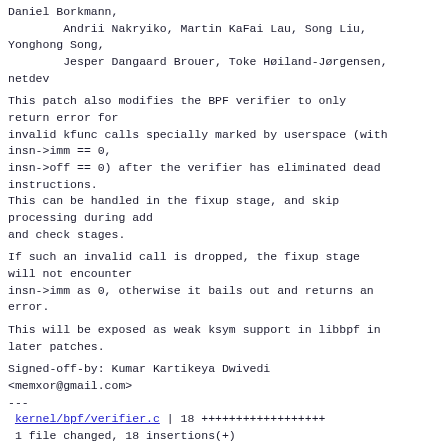Daniel Borkmann,
        Andrii Nakryiko, Martin KaFai Lau, Song Liu,
Yonghong Song,
        Jesper Dangaard Brouer, Toke Høiland-Jørgensen,
netdev
This patch also modifies the BPF verifier to only
return error for
invalid kfunc calls specially marked by userspace (with
insn->imm == 0,
insn->off == 0) after the verifier has eliminated dead
instructions.
This can be handled in the fixup stage, and skip
processing during add
and check stages.
If such an invalid call is dropped, the fixup stage
will not encounter
insn->imm as 0, otherwise it bails out and returns an
error.
This will be exposed as weak ksym support in libbpf in
later patches.
Signed-off-by: Kumar Kartikeya Dwivedi
<memxor@gmail.com>
---
 kernel/bpf/verifier.c | 18 ++++++++++++++++++
 1 file changed, 18 insertions(+)
diff --git a/kernel/bpf/verifier.c